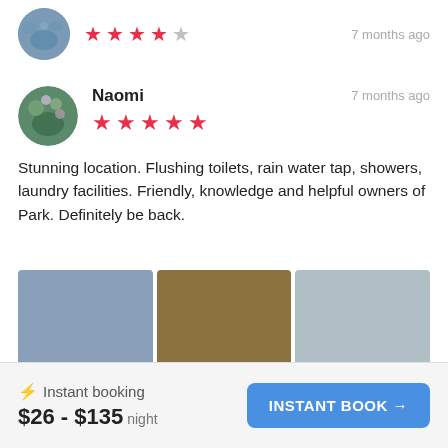[Figure (photo): Circular avatar photo of previous reviewer with ocean/water scene, 4 out of 5 red stars rating shown, timestamp '7 months ago' on right]
7 months ago
[Figure (photo): Circular avatar photo of Naomi with green/floral scene]
Naomi
7 months ago
Stunning location. Flushing toilets, rain water tap, showers, laundry facilities. Friendly, knowledge and helpful owners of Park. Definitely be back.
[Figure (photo): Three campsite/outdoor photos in a horizontal strip: blue-grey, brown/tan, light grey-blue]
⚡ Instant booking
$26 - $135 night
INSTANT BOOK →